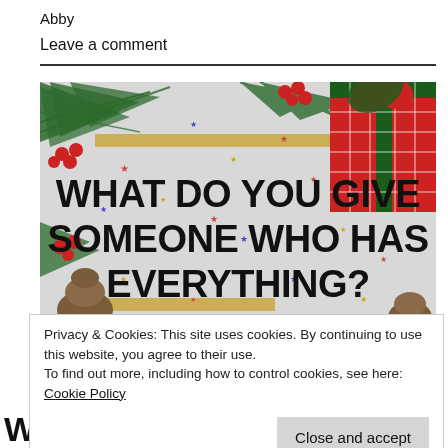Abby
Leave a comment
[Figure (illustration): Christmas-themed promotional image with text 'WHAT DO YOU GIVE SOMEONE WHO HAS EVERYTHING?' on a glittery white background with pine branches, red berries, pine cones, and a red plaid gift box in the top right corner. Gold horizontal bars accent the design.]
Privacy & Cookies: This site uses cookies. By continuing to use this website, you agree to their use.
To find out more, including how to control cookies, see here: Cookie Policy
Close and accept
WHO HAS EVERYTHING?